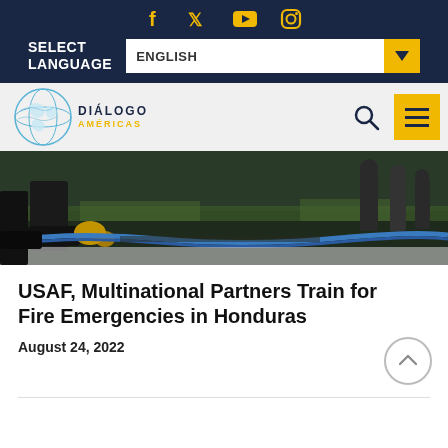Social media icons: Facebook, Twitter, YouTube, Instagram
SELECT LANGUAGE  ENGLISH
[Figure (logo): Diálogo Américas globe logo with search icon and hamburger menu button]
[Figure (photo): Workers on the ground handling firefighting equipment, boots and blue hose visible, outdoor setting]
USAF, Multinational Partners Train for Fire Emergencies in Honduras
August 24, 2022